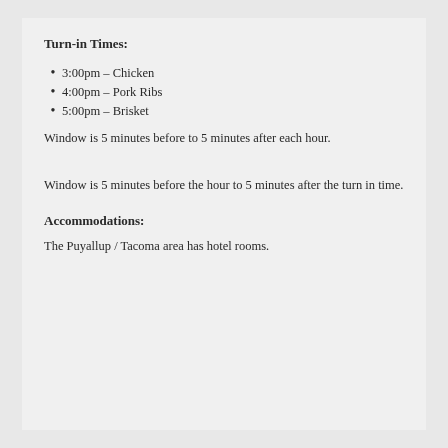Turn-in Times:
3:00pm – Chicken
4:00pm – Pork Ribs
5:00pm – Brisket
Window is 5 minutes before to 5 minutes after each hour.
Window is 5 minutes before the hour to 5 minutes after the turn in time.
Accommodations:
The Puyallup / Tacoma area has hotel rooms.